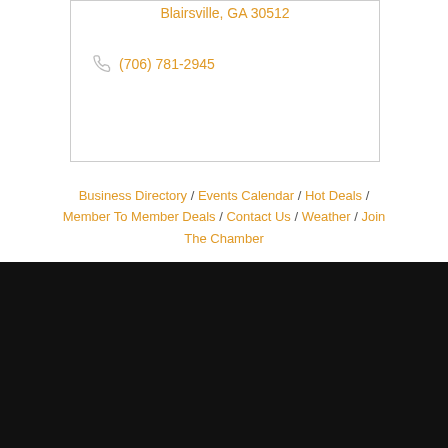Blairsville, GA 30512
(706) 781-2945
Business Directory / Events Calendar / Hot Deals / Member To Member Deals / Contact Us / Weather / Join The Chamber
[Figure (logo): Powered by GrowthZone logo]
Get In Touch!
828-837-2242
805 W. U.S. 64